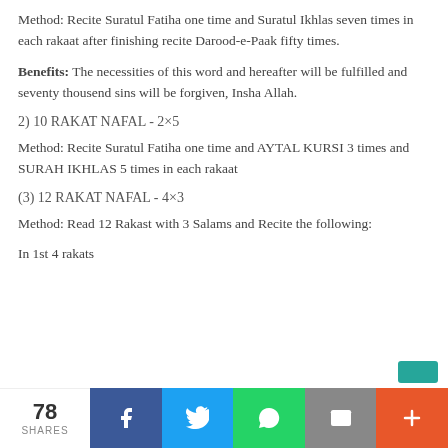Method: Recite Suratul Fatiha one time and Suratul Ikhlas seven times in each rakaat after finishing recite Darood-e-Paak fifty times.
Benefits: The necessities of this word and hereafter will be fulfilled and seventy thousend sins will be forgiven, Insha Allah.
2) 10 RAKAT NAFAL - 2×5
Method: Recite Suratul Fatiha one time and AYTAL KURSI 3 times and SURAH IKHLAS 5 times in each rakaat
(3) 12 RAKAT NAFAL - 4×3
Method: Read 12 Rakast with 3 Salams and Recite the following:
In 1st 4 rakats
78 SHARES | Facebook | Twitter | WhatsApp | Email | More